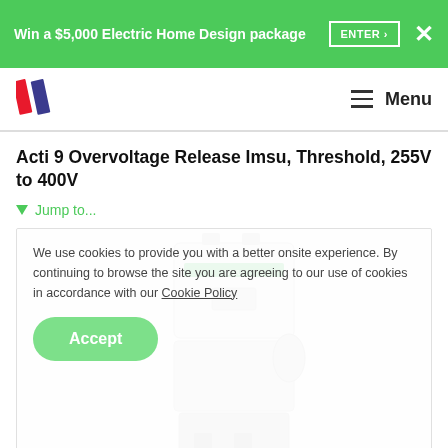Win a $5,000 Electric Home Design package  ENTER >  ✕
[Figure (logo): Clipsal/Schneider Electric double-bar logo in red and dark blue]
Menu
Acti 9 Overvoltage Release Imsu, Threshold, 255V to 400V
▼ Jump to...
We use cookies to provide you with a better onsite experience. By continuing to browse the site you are agreeing to our use of cookies in accordance with our Cookie Policy
Accept
[Figure (photo): White Acti 9 Overvoltage Release Imsu circuit breaker module product photo on light grey background]